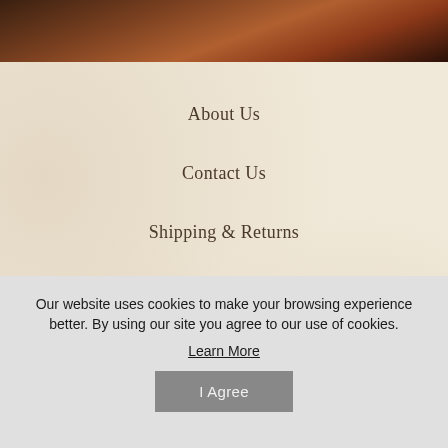[Figure (photo): Dark reddish-brown textured background image at the top of the page, resembling weathered rock or wood.]
About Us
Contact Us
Shipping & Returns
Privacy Policy
Terms & Conditions
Ferrini Repair and Replacement Guarantee
Our website uses cookies to make your browsing experience better. By using our site you agree to our use of cookies.
Learn More
I Agree